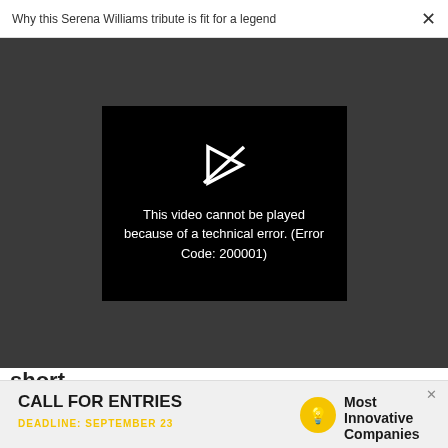Why this Serena Williams tribute is fit for a legend  ×
[Figure (screenshot): Video player showing error message: 'This video cannot be played because of a technical error. (Error Code: 200001)' with broken video icon on dark background]
short
WORK LIFE
Neurodiversity is critical for innovation in the workplace
[Figure (infographic): Advertisement banner: CALL FOR ENTRIES, DEADLINE: SEPTEMBER 23, Most Innovative Companies]